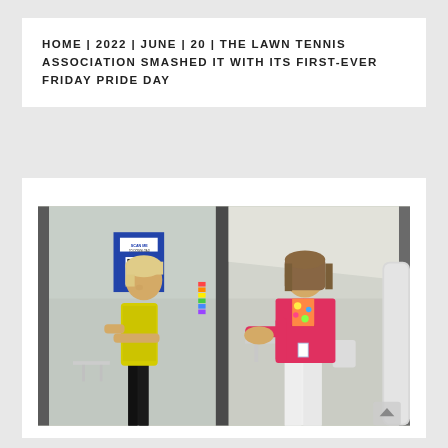HOME | 2022 | JUNE | 20 | THE LAWN TENNIS ASSOCIATION SMASHED IT WITH ITS FIRST-EVER FRIDAY PRIDE DAY
[Figure (photo): Two women standing inside a glass-partitioned venue. On the left, a woman in a yellow t-shirt and black shorts with arms crossed. On the right, a woman in a pink blazer with a floral scarf, gesturing with her hands. A blue QR code sign is visible in the background.]